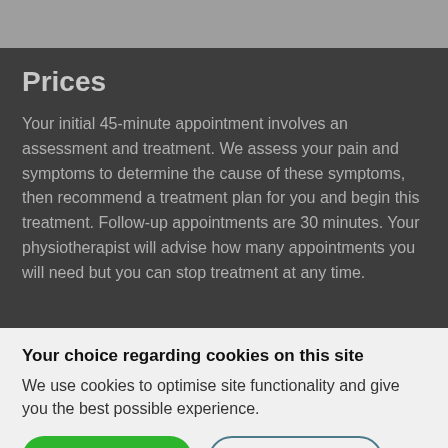Prices
Your initial 45-minute appointment involves an assessment and treatment. We assess your pain and symptoms to determine the cause of these symptoms, then recommend a treatment plan for you and begin this treatment. Follow-up appointments are 30 minutes. Your physiotherapist will advise how many appointments you will need but you can stop treatment at any time.
Your choice regarding cookies on this site
We use cookies to optimise site functionality and give you the best possible experience.
Accept cookies
Change settings